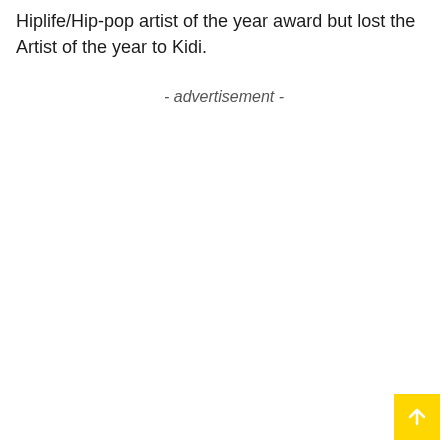Hiplife/Hip-pop artist of the year award but lost the Artist of the year to Kidi.
- advertisement -